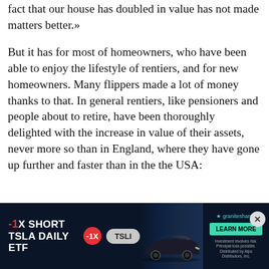fact that our house has doubled in value has not made matters better.»
But it has for most of homeowners, who have been able to enjoy the lifestyle of rentiers, and for new homeowners. Many flippers made a lot of money thanks to that. In general rentiers, like pensioners and people about to retire, have been thoroughly delighted with the increase in value of their assets, never more so than in England, where they have gone up further and faster than in the the USA:
[Figure (other): Advertisement banner for -1X SHORT TSLA DAILY ETF (ticker: TSLI) by GraniteShares, featuring a Tesla car image and a Learn More button on a dark blue background.]